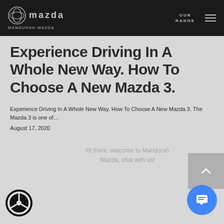MANDURAH MAZDA — OUR RANGE
Experience Driving In A Whole New Way. How To Choose A New Mazda 3.
Experience Driving In A Whole New Way. How To Choose A New Mazda 3. The Mazda 3 is one of…
August 17, 2020
Hi there, welcome to Mandurah Mazda, chat with us!
[Figure (logo): Mazda logo with steering wheel icon and chat button UI elements]